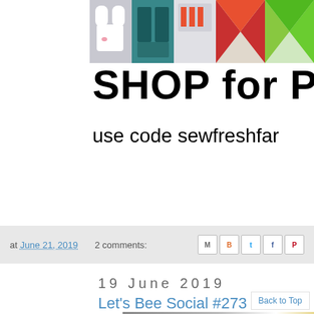[Figure (screenshot): Banner image with quilt block strip at top and 'SHOP for P' text and 'use code sewfreshfar' text below on white background]
at June 21, 2019   2 comments:
19 June 2019
Let's Bee Social #273
[Figure (photo): Partial photo with gray/brown tones and light bulb visible, bottom of page]
Back to Top